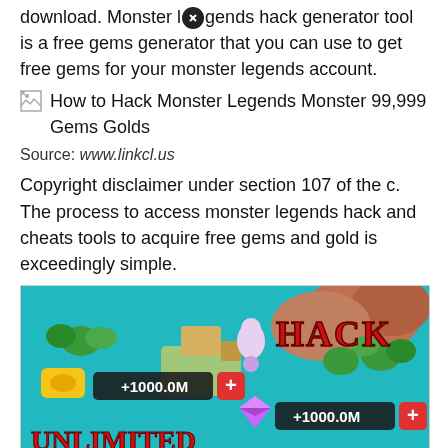download. Monster legends hack generator tool is a free gems generator that you can use to get free gems for your monster legends account.
[Figure (other): Broken image placeholder with alt text: How to Hack Monster Legends Monster 99,999 Gems Golds]
Source: www.linkcl.us
Copyright disclaimer under section 107 of the c. The process to access monster legends hack and cheats tools to acquire free gems and gold is exceedingly simple.
[Figure (screenshot): Game screenshot showing Monster Legends hack interface with +1000.0M gold and +1000.0M gems counters, text reading HACK and UNLIMITED Gems & Gold in red letters on teal game background, with close button overlay]